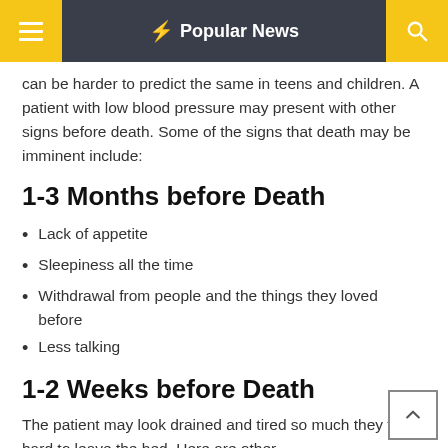Popular News
can be harder to predict the same in teens and children. A patient with low blood pressure may present with other signs before death. Some of the signs that death may be imminent include:
1-3 Months before Death
Lack of appetite
Sleepiness all the time
Withdrawal from people and the things they loved before
Less talking
1-2 Weeks before Death
The patient may look drained and tired so much they find it hard to leave the bed. Here are other